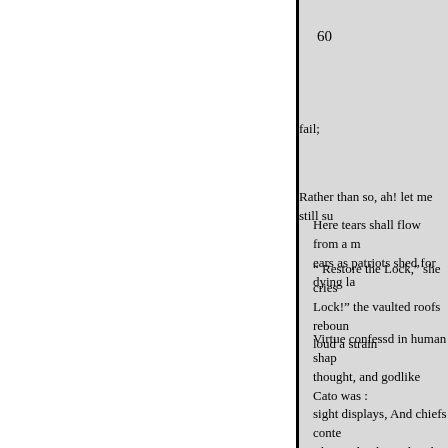60
fail;
Rather than so, ah! let me still su
Here tears shall flow from a m ears as patriots shed for dying la
" Restore the Lock," she cries Lock!" the vaulted roofs reboun loud a strain
Virtue confessd in human shap thought, and godlike Cato was : sight displays, And chiefs conte The Lock, obtain'd with guilt, an place is sought, but sought in va must be blest, While Cato gives What bosom beats not in his cou